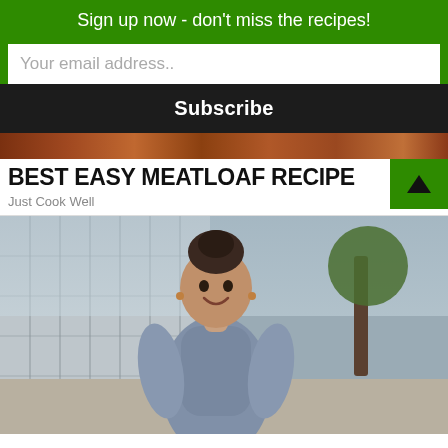Sign up now - don't miss the recipes!
Your email address..
Subscribe
BEST EASY MEATLOAF RECIPE
Just Cook Well
[Figure (photo): Woman smiling outdoors on a sidewalk, wearing a grey dress, with a tree and building in the background.]